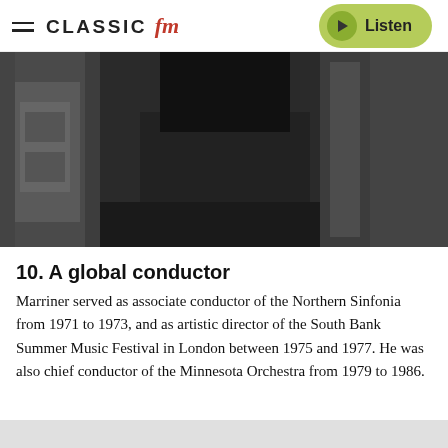CLASSIC FM — Listen
[Figure (photo): Black and white photograph of a person in dark clothing holding or wearing a white fringed scarf, with architectural stonework visible in the background.]
10. A global conductor
Marriner served as associate conductor of the Northern Sinfonia from 1971 to 1973, and as artistic director of the South Bank Summer Music Festival in London between 1975 and 1977. He was also chief conductor of the Minnesota Orchestra from 1979 to 1986.